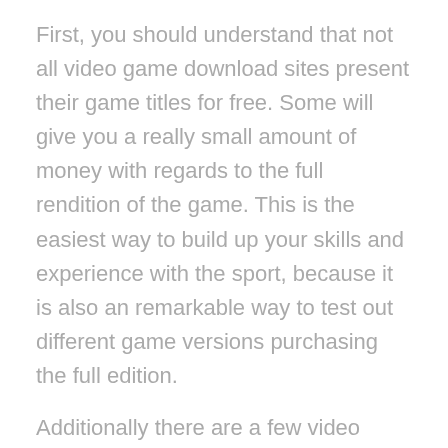First, you should understand that not all video game download sites present their game titles for free. Some will give you a really small amount of money with regards to the full rendition of the game. This is the easiest way to build up your skills and experience with the sport, because it is also an remarkable way to test out different game versions purchasing the full edition.
Additionally there are a few video game download sites that allow you to spend a small month-to-month fee and receive unrestricted downloads. You will need to download the entire game with your computer prior to you can start playing it, however. This is a wonderful way to develop your skills as you enjoy, because you can try to beat penetration of00 than you can beat in a